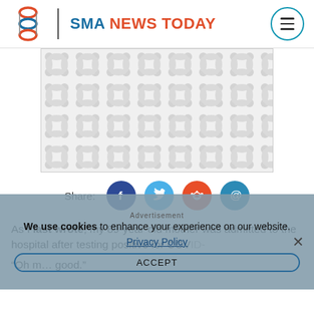[Figure (logo): SMA News Today website header with DNA logo icon, site name, and hamburger menu button]
[Figure (illustration): Placeholder banner with repeating DNA/molecule pattern in light gray]
[Figure (infographic): Share bar with Facebook, Twitter, Reddit, and Email social icons]
As I last wrote, my 89-year-old mother was admitted to the hospital after testing positive for COVID-
“Oh m… good.”
Advertisement
We use cookies to enhance your experience on our website.
Privacy Policy
ACCEPT